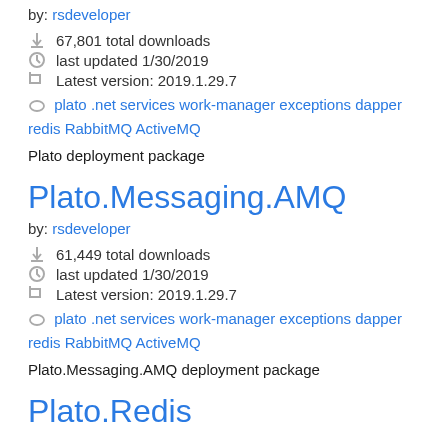by: rsdeveloper
↓ 67,801 total downloads
last updated 1/30/2019
Latest version: 2019.1.29.7
plato .net services work-manager exceptions dapper redis RabbitMQ ActiveMQ
Plato deployment package
Plato.Messaging.AMQ
by: rsdeveloper
↓ 61,449 total downloads
last updated 1/30/2019
Latest version: 2019.1.29.7
plato .net services work-manager exceptions dapper redis RabbitMQ ActiveMQ
Plato.Messaging.AMQ deployment package
Plato.Redis